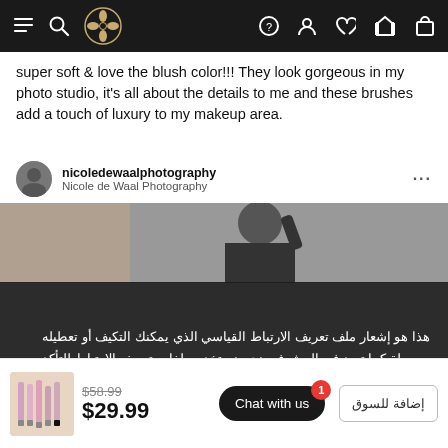Navigation bar with menu, logo, help, account, wishlist, compare, and cart icons
super soft & love the blush color!!! They look gorgeous in my photo studio, it's all about the details to me and these brushes add a touch of luxury to my makeup area.
[Figure (screenshot): Instagram embed showing nicoledewaalphotography / Nicole de Waal Photography profile header with avatar and three-dot menu, and a partial photo of a woman in dark clothing]
هذا هو إشعار ملف تعريف الارتباط القياسي الذي يمكنك التكيف أو تعطيله بسهولة كما تريد في المشرف. نحن نستخدم ملفات تعريف الارتباط للتأكد من أننا نقدم لك أفضل تجربة على موقعنا.
✓ قبول   سياسة خاصة
[Figure (photo): Product thumbnail showing nail brushes with light pink handles]
$58.99
$29.99
Chat with us
إضافة للسوق